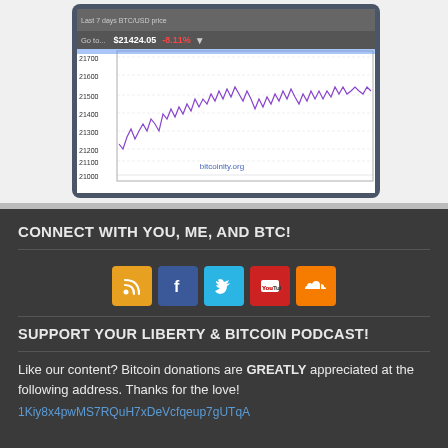[Figure (screenshot): Screenshot of bitcoinity.org BTC/USD price chart showing last 7 days. Price shown as $21424.05 with -8.11% change. Chart shows price range approximately 21000-21600 with jagged purple line.]
CONNECT WITH YOU, ME, AND BTC!
[Figure (infographic): Row of social media icons: RSS (orange), Facebook (blue), Twitter (light blue), YouTube (red), SoundCloud (orange)]
SUPPORT YOUR LIBERTY & BITCOIN PODCAST!
Like our content? Bitcoin donations are GREATLY appreciated at the following address. Thanks for the love!
1Kiy8x4pwMS7RQuH7xDeVcfqeup7gUTqA